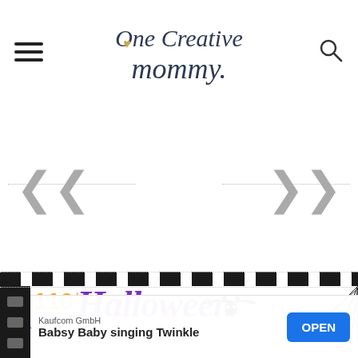One Creative Mommy
[Figure (screenshot): Blog slider area with left and right chevron navigation arrows and dotted horizontal lines]
[Figure (infographic): Halloween banner with film strip border showing '110+ Halloween project ideas' with bat and spiderweb graphics]
Kaufcom GmbH
Babsy Baby singing Twinkle
OPEN